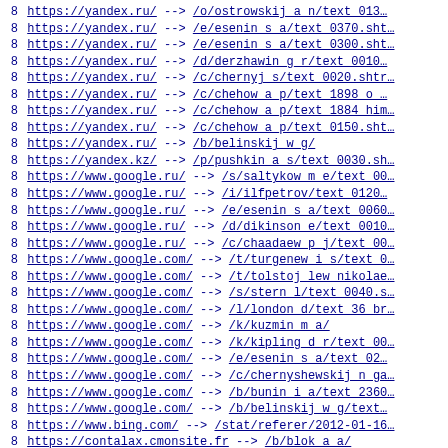8 https://yandex.ru/ --> /o/ostrowskij_a_n/text_013...
8 https://yandex.ru/ --> /e/esenin_s_a/text_0370.sht...
8 https://yandex.ru/ --> /e/esenin_s_a/text_0300.sht...
8 https://yandex.ru/ --> /d/derzhawin_g_r/text_0010...
8 https://yandex.ru/ --> /c/chernyj_s/text_0020.shtr...
8 https://yandex.ru/ --> /c/chehow_a_p/text_1898_o_...
8 https://yandex.ru/ --> /c/chehow_a_p/text_1884_him...
8 https://yandex.ru/ --> /c/chehow_a_p/text_0150.sht...
8 https://yandex.ru/ --> /b/belinskij_w_g/
8 https://yandex.kz/ --> /p/pushkin_a_s/text_0030.sh...
8 https://www.google.ru/ --> /s/saltykow_m_e/text_00...
8 https://www.google.ru/ --> /i/ilfpetrov/text_0120...
8 https://www.google.ru/ --> /e/esenin_s_a/text_0060...
8 https://www.google.ru/ --> /d/dikinson_e/text_0010...
8 https://www.google.ru/ --> /c/chaadaew_p_j/text_00...
8 https://www.google.com/ --> /t/turgenew_i_s/text_0...
8 https://www.google.com/ --> /t/tolstoj_lew_nikolae...
8 https://www.google.com/ --> /s/stern_l/text_0040.s...
8 https://www.google.com/ --> /l/london_d/text_36_br...
8 https://www.google.com/ --> /k/kuzmin_m_a/
8 https://www.google.com/ --> /k/kipling_d_r/text_00...
8 https://www.google.com/ --> /e/esenin_s_a/text_02...
8 https://www.google.com/ --> /c/chernyshewskij_n_ga...
8 https://www.google.com/ --> /b/bunin_i_a/text_2360...
8 https://www.google.com/ --> /b/belinskij_w_g/text...
8 https://www.bing.com/ --> /stat/referer/2012-01-16...
8 https://contalax.cmonsite.fr --> /b/blok_a_a/
8 http://www.google.com/ --> /n/newerow_a_s/text_001...
8 http://www.google.com/ --> /l/leskow_n_s/
8 http://www.google.com/ --> /g/griboedow_a_s/text...